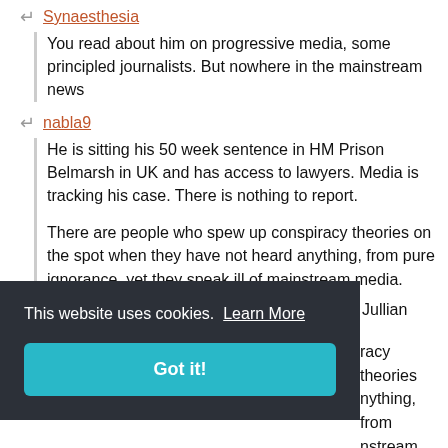Synaesthesia
You read about him on progressive media, some principled journalists. But nowhere in the mainstream news
nabla9
He is sitting his 50 week sentence in HM Prison Belmarsh in UK and has access to lawyers. Media is tracking his case. There is nothing to report.

There are people who spew up conspiracy theories on the spot when they have not heard anything, from pure ignorance, yet they speak ill of mainstream media.
seppin
This website uses cookies. Learn More
Got it!
If they are tracking where is the news about Jullian